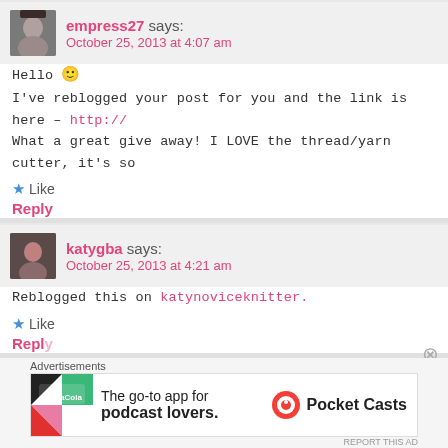empress27 says: October 25, 2013 at 4:07 am
Hello 🙂
I've reblogged your post for you and the link is here – http://
What a great give away! I LOVE the thread/yarn cutter, it's so
★ Like
Reply
katygba says: October 25, 2013 at 4:21 am
Reblogged this on katynoviceknitter.
★ Like
Reply
Advertisements
[Figure (infographic): Pocket Casts advertisement banner: The go-to app for podcast lovers.]